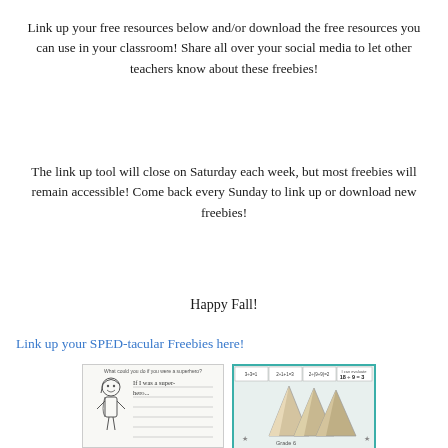Link up your free resources below and/or download the free resources you can use in your classroom! Share all over your social media to let other teachers know about these freebies!
The link up tool will close on Saturday each week, but most freebies will remain accessible! Come back every Sunday to link up or download new freebies!
Happy Fall!
Link up your SPED-tacular Freebies here!
[Figure (illustration): Worksheet showing a superhero writing prompt with a cartoon girl figure and handwriting lines with text 'If I was a super-hero...']
[Figure (photo): Math division activity with pencil-shaped paper manipulatives showing equations like 18 ÷ 9 = 3, labeled Grade 6, with teal/turquoise border]